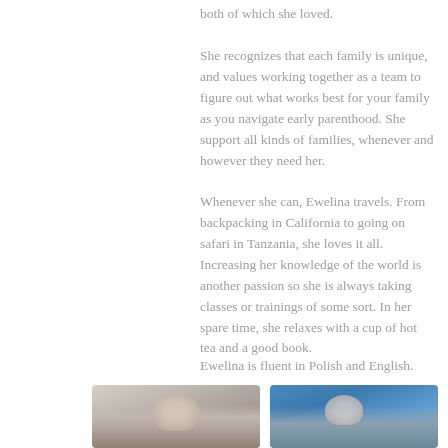both of which she loved.
She recognizes that each family is unique, and values working together as a team to figure out what works best for your family as you navigate early parenthood.  She support all kinds of families, whenever and however they need her.
Whenever she can, Ewelina travels. From backpacking in California to going on safari in Tanzania, she loves it all. Increasing her knowledge of the world is another passion so she is always taking classes or trainings of some sort. In her spare time, she relaxes with a cup of hot tea and a good book.
Ewelina is fluent in Polish and English.
[Figure (photo): Photo of a person, blurred, with a light/beige background]
[Figure (photo): Photo of a person outdoors with blue fabric/tent in the background]